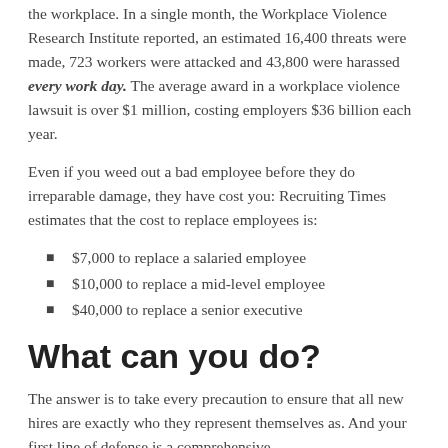the workplace. In a single month, the Workplace Violence Research Institute reported, an estimated 16,400 threats were made, 723 workers were attacked and 43,800 were harassed every work day. The average award in a workplace violence lawsuit is over $1 million, costing employers $36 billion each year.
Even if you weed out a bad employee before they do irreparable damage, they have cost you: Recruiting Times estimates that the cost to replace employees is:
$7,000 to replace a salaried employee
$10,000 to replace a mid-level employee
$40,000 to replace a senior executive
What can you do?
The answer is to take every precaution to ensure that all new hires are exactly who they represent themselves as. And your first line of defense is a comprehensive,